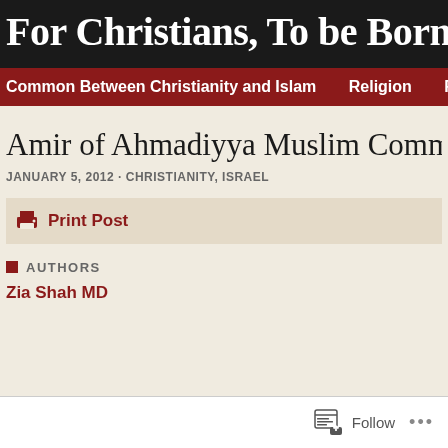For Christians, To be Born A
Common Between Christianity and Islam   Religion   Religion &
Amir of Ahmadiyya Muslim Community presenting a copy of Quran to the Po
JANUARY 5, 2012 · CHRISTIANITY, ISRAEL
Print Post
AUTHORS
Zia Shah MD
Follow